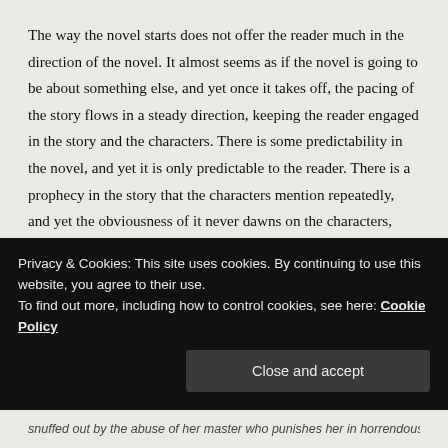The way the novel starts does not offer the reader much in the direction of the novel. It almost seems as if the novel is going to be about something else, and yet once it takes off, the pacing of the story flows in a steady direction, keeping the reader engaged in the story and the characters. There is some predictability in the novel, and yet it is only predictable to the reader. There is a prophecy in the story that the characters mention repeatedly, and yet the obviousness of it never dawns on the characters, they reference it and go about their journey, going back to it to justify their actions and enforce their goals. Their obliviousness is a refreshing take because it is not essential to the story for the characters to see it the way the reader does. It does not serve as a distraction for the characters or the reader, and it does not take away from the overall story, which is all about Andra's journey.
Privacy & Cookies: This site uses cookies. By continuing to use this website, you agree to their use.
To find out more, including how to control cookies, see here: Cookie Policy
snuffed out by the abuse of her master who punishes her in horrendous